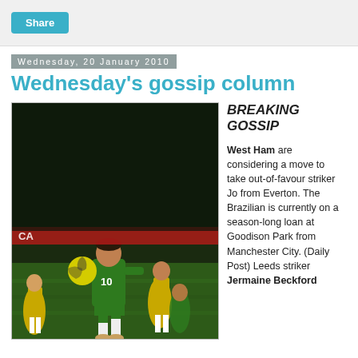Share
Wednesday, 20 January 2010
Wednesday's gossip column
[Figure (photo): Soccer players in a match: player in green kit number 10 controlling a yellow ball, with a yellow-kit player behind him]
BREAKING GOSSIP
West Ham are considering a move to take out-of-favour striker Jo from Everton. The Brazilian is currently on a season-long loan at Goodison Park from Manchester City. (Daily Post) Leeds striker Jermaine Beckford